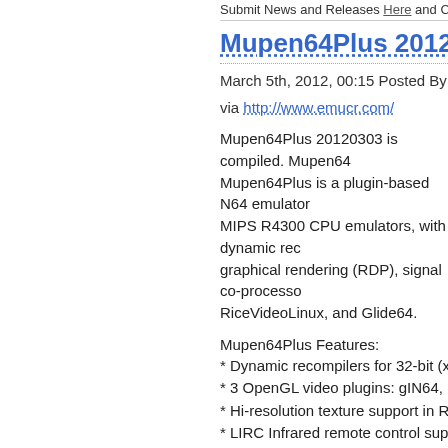Submit News and Releases Here and Contact
Mupen64Plus 20120303
March 5th, 2012, 00:15 Posted By: wraggster
via http://www.emucr.com/
Mupen64Plus 20120303 is compiled. Mupen64Plus is a plugin-based N64 emulator Mupen64Plus is a plugin-based N64 emulator MIPS R4300 CPU emulators, with dynamic rec graphical rendering (RDP), signal co-processor RiceVideoLinux, and Glide64.
Mupen64Plus Features:
* Dynamic recompilers for 32-bit (x86) and 64-
* 3 OpenGL video plugins: gIN64, RiceVideoLi
* Hi-resolution texture support in Rice Video
* LIRC Infrared remote control support
* Rumble Pak support
* Graphical R4300 debugger
* Cheat system with gameshark code support
* Speed adjustment with smooth sound output
* GTK2-based GUI
* Qt4-based GUI
* Command-line options for integration into oth
* Installation support for multi-user systems